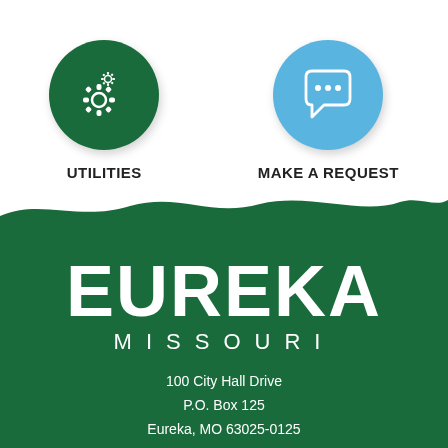[Figure (illustration): Dark green circle icon with gear/settings symbols (utilities icon)]
UTILITIES
[Figure (illustration): Light blue circle icon with speech bubble / chat dots (make a request icon)]
MAKE A REQUEST
[Figure (logo): Eureka Missouri city logo — large white EUREKA text with MISSOURI in spaced letters, on dark green brushstroke background]
100 City Hall Drive
P.O. Box 125
Eureka, MO 63025-0125